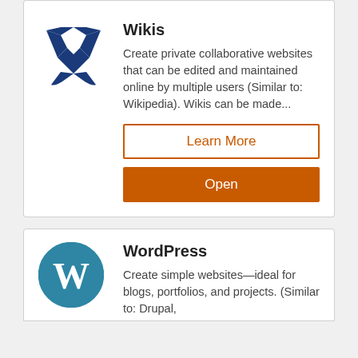[Figure (logo): Wikia/XWiki logo — dark blue stylized X with arrows]
Wikis
Create private collaborative websites that can be edited and maintained online by multiple users (Similar to: Wikipedia). Wikis can be made...
Learn More
Open
[Figure (logo): WordPress logo — teal circle with W letter mark]
WordPress
Create simple websites—ideal for blogs, portfolios, and projects. (Similar to: Drupal,